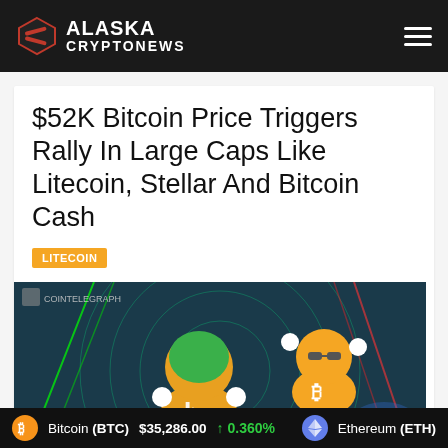Alaska Crypto News
$52K Bitcoin Price Triggers Rally In Large Caps Like Litecoin, Stellar And Bitcoin Cash
LITECOIN
[Figure (illustration): CoinTelegraph illustrated image showing cartoon cryptocurrency characters with Litecoin and Bitcoin logos against a glowing green and blue background with radar-like circular patterns]
Bitcoin (BTC) $35,286.00 ↑ 0.360%  Ethereum (ETH)